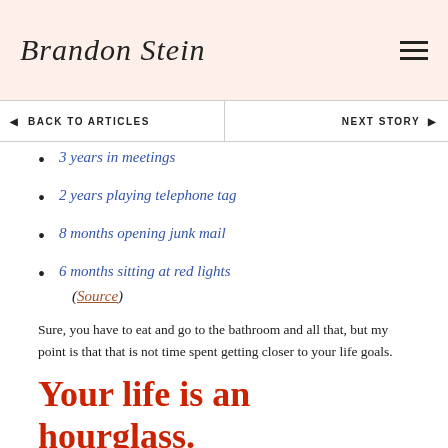Brandon Stein [logo/signature]
◄ BACK TO ARTICLES    NEXT STORY ►
3 years in meetings
2 years playing telephone tag
8 months opening junk mail
6 months sitting at red lights (Source)
Sure, you have to eat and go to the bathroom and all that, but my point is that that is not time spent getting closer to your life goals.
Your life is an hourglass.
You don't have to hire a therapist or a lawyer to be billed by the hour.
You're being "billed" by the hour all the time!